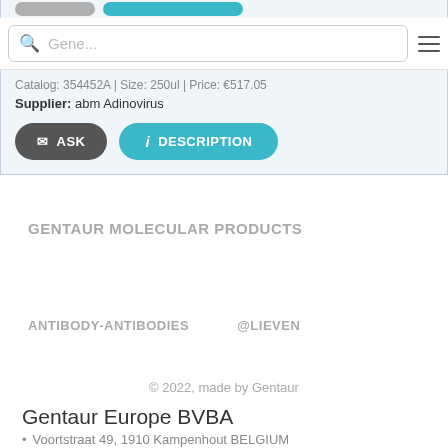[Figure (screenshot): Partial top strip showing grey and blue pill buttons from a product card]
[Figure (screenshot): Search bar with magnifying glass icon and 'Gene...' placeholder text, and a hamburger menu icon]
Catalog: 354452A | Size: 250ul | Price: €517.05
Supplier: abm Adinovirus
[Figure (screenshot): Two buttons: dark grey ASK button with envelope icon, and teal DESCRIPTION button with info icon]
GENTAUR MOLECULAR PRODUCTS
ANTIBODY-ANTIBODIES
@LIEVEN
© 2022, made by Gentaur
Gentaur Europe BVBA
Voortstraat 49, 1910 Kampenhout BELGIUM